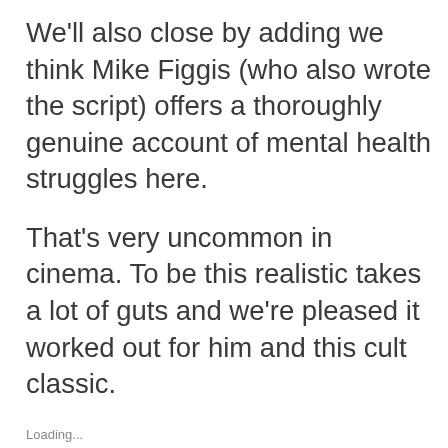We'll also close by adding we think Mike Figgis (who also wrote the script) offers a thoroughly genuine account of mental health struggles here.
That's very uncommon in cinema. To be this realistic takes a lot of guts and we're pleased it worked out for him and this cult classic.
Cookies & Privacy: This site uses cookies. By continuing to use this website, you agree to their use. To find out more, including how to control cookies, click here: Cookie Policy
Accept & Close
Loading...